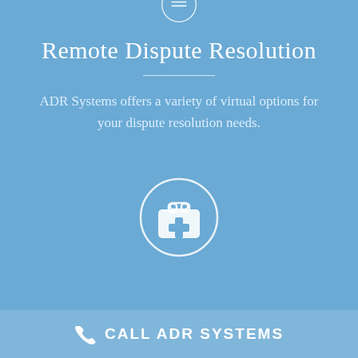[Figure (illustration): White circle with horizontal lines icon (hamburger/menu icon) at top center, partially cropped]
Remote Dispute Resolution
ADR Systems offers a variety of virtual options for your dispute resolution needs.
[Figure (illustration): White circle with a medical/first-aid kit briefcase icon inside]
CALL ADR SYSTEMS